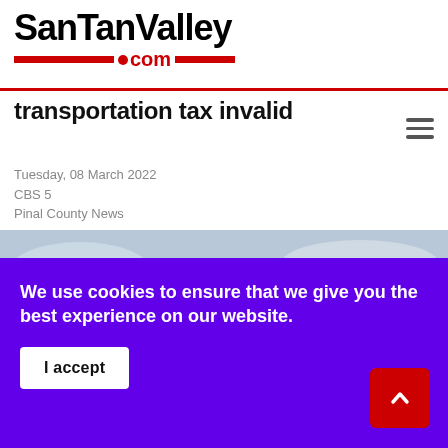SanTanValley.com
transportation tax invalid
Tuesday, 08 March 2022
CBS 5
Pinal County News
[Figure (photo): Exterior photo of a neoclassical courthouse/government building with columns and pediment, overcast sky]
We use cookies to ensure that we give you the best experience on our website.
I accept